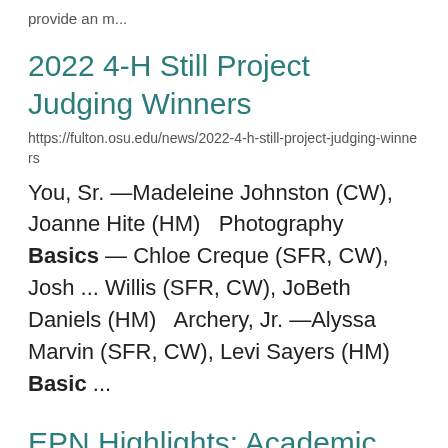provide an m...
2022 4-H Still Project Judging Winners
https://fulton.osu.edu/news/2022-4-h-still-project-judging-winners
You, Sr. —Madeleine Johnston (CW), Joanne Hite (HM)   Photography Basics — Chloe Creque (SFR, CW), Josh ... Willis (SFR, CW), JoBeth Daniels (HM)   Archery, Jr. —Alyssa Marvin (SFR, CW), Levi Sayers (HM)   Basic ...
EPN Highlights: Academic Year 2021-2022